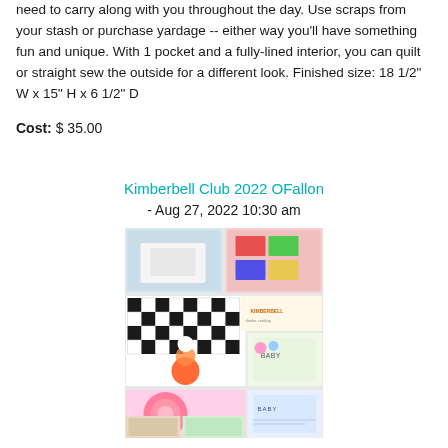need to carry along with you throughout the day. Use scraps from your stash or purchase yardage -- either way you'll have something fun and unique. With 1 pocket and a fully-lined interior, you can quilt or straight sew the outside for a different look. Finished size: 18 1/2" W x 15" H x 6 1/2" D
Cost: $ 35.00
Kimberbell Club 2022 OFallon - Aug 27, 2022 10:30 am
[Figure (photo): Collage of colorful quilting and embroidery projects from Kimberbell Club 2022, showing various fabric crafts including embroidered items, quilts, and handmade decorations arranged in a grid layout.]